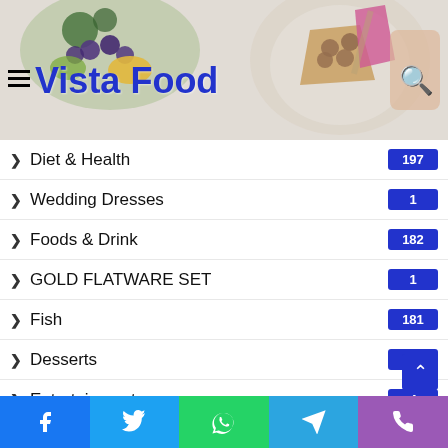[Figure (photo): Vista Food website header with food photos (blueberries, fruit bowl, plated dessert) and the site logo 'Vista Food' in blue text with hamburger menu and search icon]
Diet & Health  197
Wedding Dresses  1
Foods & Drink  182
GOLD FLATWARE SET  1
Fish  181
Desserts  160
Entertainment  4
Food & Vegetables  154
Recipes  146
spices & coffee
Foods
Facebook  Twitter  WhatsApp  Telegram  Phone